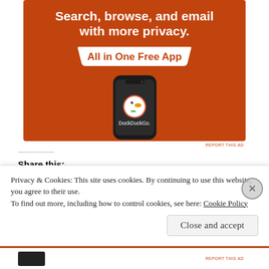[Figure (illustration): DuckDuckGo advertisement banner with orange background. Text reads 'Search, browse, and email with more privacy.' and 'All in One Free App' in a white ribbon button. Shows a smartphone with DuckDuckGo logo and duck mascot icon.]
REPORT THIS AD
Share this:
Twitter
Facebook
Privacy & Cookies: This site uses cookies. By continuing to use this website, you agree to their use.
To find out more, including how to control cookies, see here: Cookie Policy
Close and accept
REPORT THIS AD